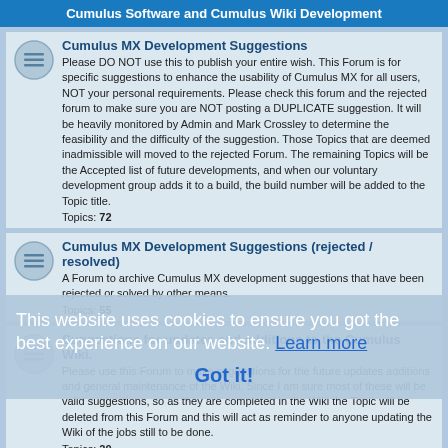Cumulus Software and Cumulus Wiki Development
Cumulus MX Development Suggestions
Please DO NOT use this to publish your entire wish. This Forum is for specific suggestions to enhance the usability of Cumulus MX for all users, NOT your personal requirements. Please check this forum and the rejected forum to make sure you are NOT posting a DUPLICATE suggestion. It will be heavily monitored by Admin and Mark Crossley to determine the feasibility and the difficulty of the suggestion. Those Topics that are deemed inadmissible will moved to the rejected Forum. The remaining Topics will be the Accepted list of future developments, and when our voluntary development group adds it to a build, the build number will be added to the Topic title.
Topics: 72
Cumulus MX Development Suggestions (rejected / resolved)
A Forum to archive Cumulus MX development suggestions that have been rejected or solved by other means.
Topics: 55
Suggestions for updates and additions to the Cumulus Wiki.
Please use this Forum to make suggestions for the future updates additions and general maintenance of the Wiki. Since I am sure most of these will be valid suggestions, so as they are completed in the Wiki the Topic will be deleted from this Forum and this will act as reminder to anyone updating the Wiki of the jobs still to be done.
Topics: 20
Weather Stations and associated Hardware.
Davis VP/VP2/Vue
Discussion specific to Davis weather stations
Topics: 1218
This website uses cookies to ensure you get the best experience on our website. Learn more
Got it!